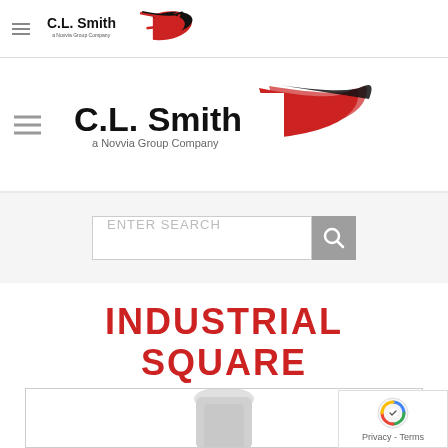[Figure (logo): C.L. Smith a Novvia Group Company logo - small version in top browser bar]
[Figure (logo): C.L. Smith a Novvia Group Company logo - large version in main header]
ENTER SEARCH
INDUSTRIAL SQUARE BOTTLE
HOME / HAZPLUS HAZARDOUS MATERIAL PACKAGING / INDUSTRIAL SQUARE BOTTLE
[Figure (photo): Industrial square bottle product photo (partially visible at bottom of page)]